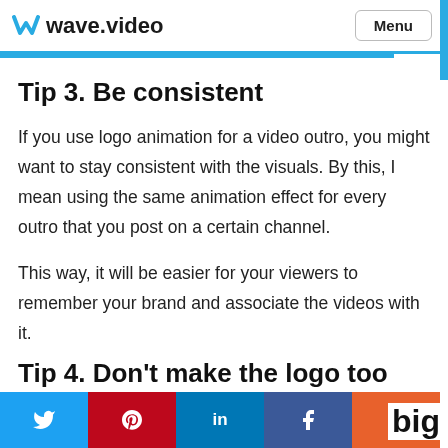wave.video  Menu
Tip 3. Be consistent
If you use logo animation for a video outro, you might want to stay consistent with the visuals. By this, I mean using the same animation effect for every outro that you post on a certain channel.
This way, it will be easier for your viewers to remember your brand and associate the videos with it.
Tip 4. Don't make the logo too big
Twitter  Pinterest  LinkedIn  Facebook  +  big